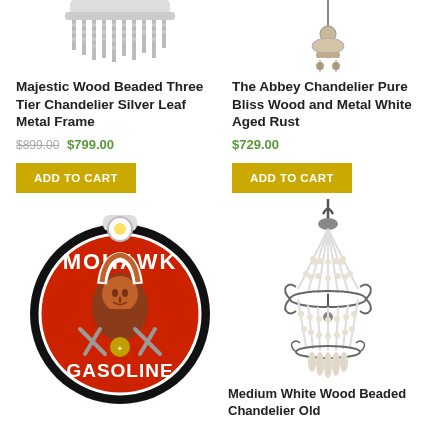[Figure (photo): Top view of a beaded chandelier with silver/white beads hanging down, cropped at top]
[Figure (photo): Top view of a chandelier with ornate top, cropped at top, partially visible]
Majestic Wood Beaded Three Tier Chandelier Silver Leaf Metal Frame
$899.00 $799.00
ADD TO CART
The Abbey Chandelier Pure Bliss Wood and Metal White Aged Rust
$729.00
ADD TO CART
[Figure (photo): Mohawk Gasoline vintage circular sign with Native American profile, red and black, illuminated]
[Figure (photo): Medium white wood beaded chandelier with decorative metal scrollwork frame]
Medium White Wood Beaded Chandelier Old